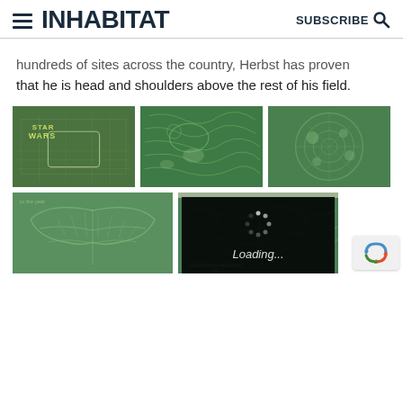INHABITAT | SUBSCRIBE
hundreds of sites across the country, Herbst has proven that he is head and shoulders above the rest of his field.
[Figure (photo): Aerial view of a Star Wars themed corn maze showing Darth Vader and text STAR WARS]
[Figure (photo): Aerial view of an intricate green corn maze pattern]
[Figure (photo): Aerial view of a circular corn maze pattern with bubble-like shapes]
[Figure (photo): Aerial view of a corn maze with bird or eagle design]
[Figure (photo): Aerial view of a corn maze with text and decorative pattern, with Loading... overlay]